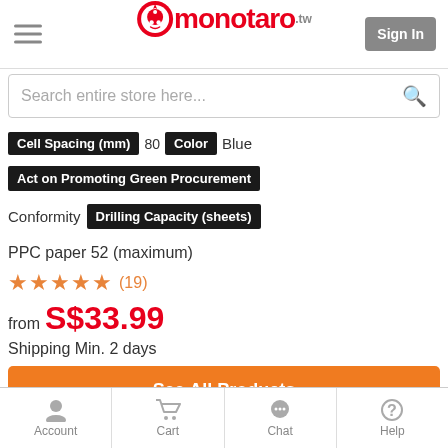monotaro.tw
Search entire store here...
Cell Spacing (mm) 80 Color Blue
Act on Promoting Green Procurement
Conformity Drilling Capacity (sheets)
PPC paper 52 (maximum)
★★★★★ (19)
from S$33.99
Shipping Min. 2 days
See All Products
KOKUYO Bookend
Account  Cart  Chat  Help